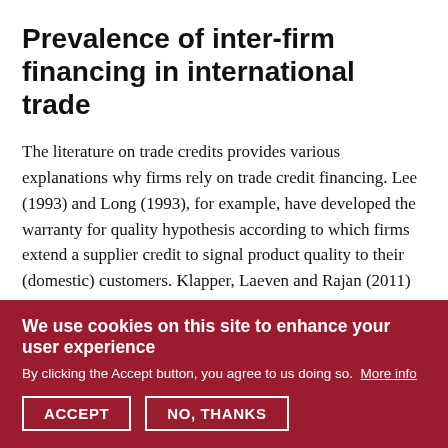Prevalence of inter-firm financing in international trade
The literature on trade credits provides various explanations why firms rely on trade credit financing. Lee (1993) and Long (1993), for example, have developed the warranty for quality hypothesis according to which firms extend a supplier credit to signal product quality to their (domestic) customers. Klapper, Laeven and Rajan (2011) provide empirical evidence that less trustworthy suppliers offer longer payment periods to their buyers. Only recently has the literature on trade credits taken international transactions into its focus. Schmidt-Eisenlohr (2012), Hoefele et al. (2012) and Antras and Foley (2011), for
We use cookies on this site to enhance your user experience
By clicking the Accept button, you agree to us doing so.  More info
ACCEPT
NO, THANKS